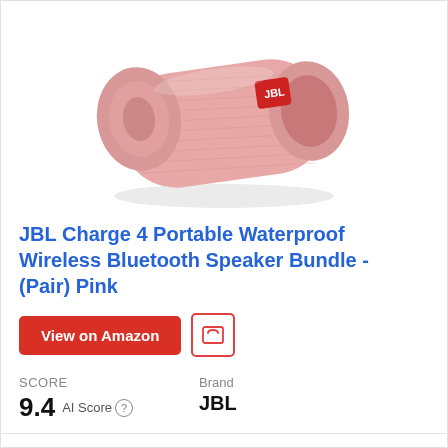[Figure (photo): Pink JBL Charge 4 portable Bluetooth speaker on white background, angled view showing fabric exterior and JBL logo badge]
JBL Charge 4 Portable Waterproof Wireless Bluetooth Speaker Bundle - (Pair) Pink
View on Amazon
SCORE
9.4  AI Score
Brand
JBL
This bundle includes (2) JBL Charge 4